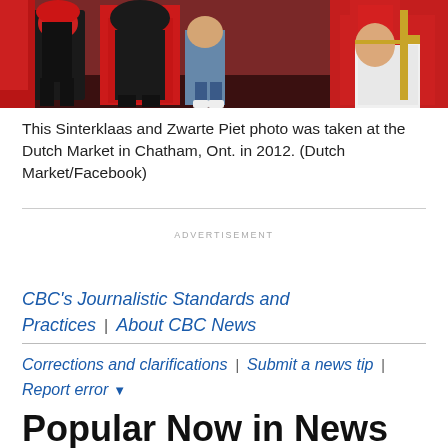[Figure (photo): Photo of Sinterklaas and Zwarte Piet figures in red and black costumes at the Dutch Market in Chatham, Ontario in 2012]
This Sinterklaas and Zwarte Piet photo was taken at the Dutch Market in Chatham, Ont. in 2012. (Dutch Market/Facebook)
ADVERTISEMENT
CBC's Journalistic Standards and Practices | About CBC News
Corrections and clarifications | Submit a news tip | Report error ▾
Popular Now in News